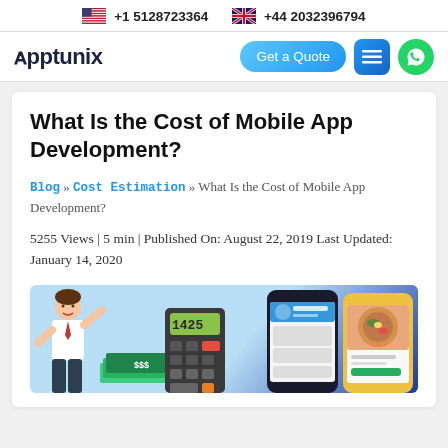+1 5128723364   +44 2032396794
[Figure (screenshot): Apptunix website navigation bar with logo, Get a Quote button, hamburger menu, and WhatsApp icon]
What Is the Cost of Mobile App Development?
Blog » Cost Estimation » What Is the Cost of Mobile App Development?
5255 Views | 5 min | Published On: August 22, 2019 Last Updated: January 14, 2020
[Figure (illustration): Hero illustration showing a person, a calculator with numbers 1425, and two smartphone mockups with app interfaces on a light blue and dark blue background]